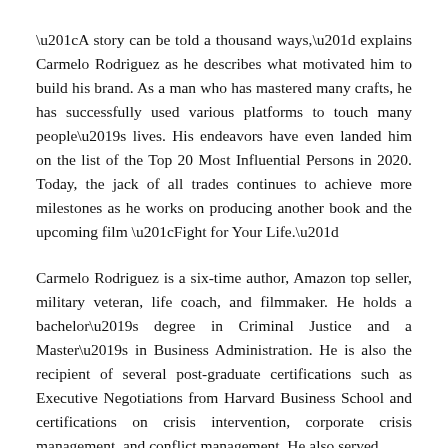“A story can be told a thousand ways,” explains Carmelo Rodriguez as he describes what motivated him to build his brand. As a man who has mastered many crafts, he has successfully used various platforms to touch many people’s lives. His endeavors have even landed him on the list of the Top 20 Most Influential Persons in 2020. Today, the jack of all trades continues to achieve more milestones as he works on producing another book and the upcoming film “Fight for Your Life.”
Carmelo Rodriguez is a six-time author, Amazon top seller, military veteran, life coach, and filmmaker. He holds a bachelor’s degree in Criminal Justice and a Master’s in Business Administration. He is also the recipient of several post-graduate certifications such as Executive Negotiations from Harvard Business School and certifications on crisis intervention, corporate crisis management, and conflict management. He also served